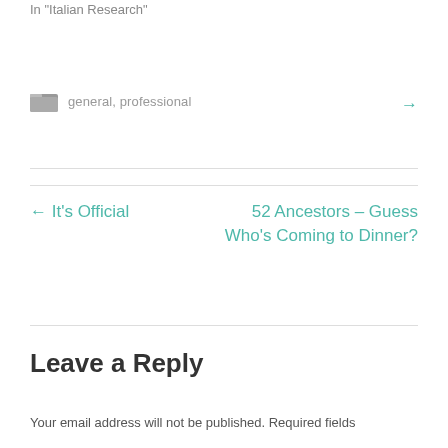In "Italian Research"
general, professional
← It's Official
52 Ancestors – Guess Who's Coming to Dinner? →
Leave a Reply
Your email address will not be published. Required fields